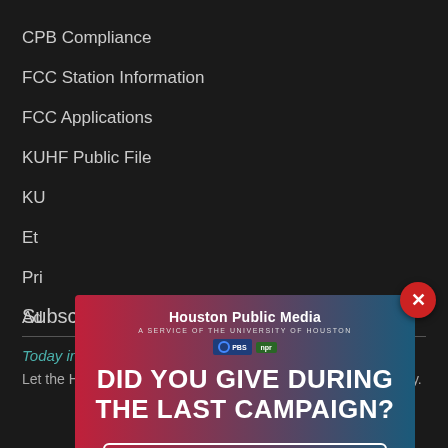CPB Compliance
FCC Station Information
FCC Applications
KUHF Public File
KU…
Et…
Pri…
Ad…
[Figure (infographic): Houston Public Media modal ad with gradient red-to-blue background. Shows 'Houston Public Media - A Service of the University of Houston' with PBS and NPR logos. Large white text reads 'DID YOU GIVE DURING THE LAST CAMPAIGN?' with a CTA button: handshake icon and 'Click here to see if your employer matches'. A red circular close button with X is in the top-right corner.]
Subscribe to Our Newsletters
Today in Houston
Let the Houston Public Media newsroom help you start your day.